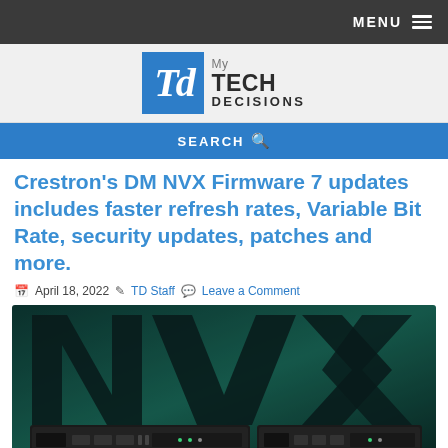MENU
[Figure (logo): My Tech Decisions logo with blue TD box and text]
SEARCH
Crestron's DM NVX Firmware 7 updates includes faster refresh rates, Variable Bit Rate, security updates, patches and more.
April 18, 2022  TD Staff  Leave a Comment
[Figure (photo): Crestron DM NVX hardware devices displayed in front of a dark teal background with the NVX logo]